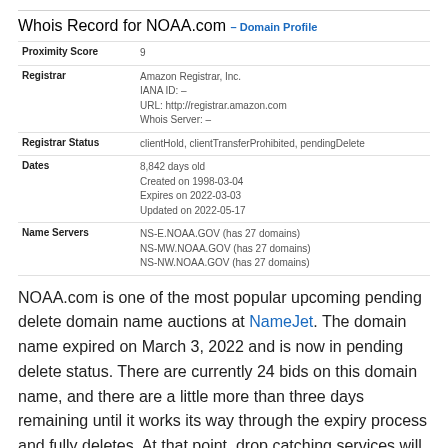Whois Record for NOAA.com
– Domain Profile
| Field | Value |
| --- | --- |
| Proximity Score | 9 |
| Registrar | Amazon Registrar, Inc.
IANA ID: –
URL: http://registrar.amazon.com
Whois Server: – |
| Registrar Status | clientHold, clientTransferProhibited, pendingDelete |
| Dates | 8,842 days old
Created on 1998-03-04
Expires on 2022-03-03
Updated on 2022-05-17 |
| Name Servers | NS-E.NOAA.GOV (has 27 domains)
NS-MW.NOAA.GOV (has 27 domains)
NS-NW.NOAA.GOV (has 27 domains) |
NOAA.com is one of the most popular upcoming pending delete domain name auctions at NameJet. The domain name expired on March 3, 2022 and is now in pending delete status. There are currently 24 bids on this domain name, and there are a little more than three days remaining until it works its way through the expiry process and fully deletes. At that point, drop catching services will compete to grab the domain name and auction it.